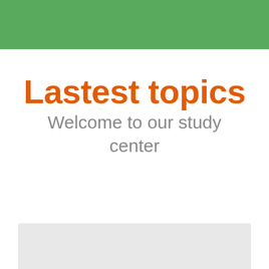[Figure (screenshot): Green header banner at the top of a study center webpage]
Lastest topics
Welcome to our study center
[Figure (screenshot): Partial screenshot of a webpage content area at the bottom, showing a light gray card/panel]